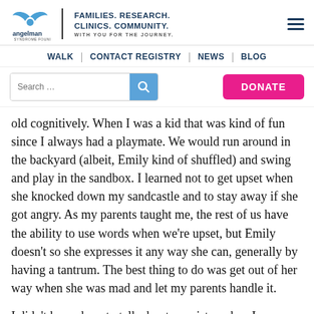Angelman Syndrome Foundation — FAMILIES. RESEARCH. CLINICS. COMMUNITY. WITH YOU FOR THE JOURNEY.
WALK | CONTACT REGISTRY | NEWS | BLOG
old cognitively. When I was a kid that was kind of fun since I always had a playmate. We would run around in the backyard (albeit, Emily kind of shuffled) and swing and play in the sandbox. I learned not to get upset when she knocked down my sandcastle and to stay away if she got angry. As my parents taught me, the rest of us have the ability to use words when we're upset, but Emily doesn't so she expresses it any way she can, generally by having a tantrum. The best thing to do was get out of her way when she was mad and let my parents handle it.
I didn't know how to talk about my sister when I was young. One neighbor girl, when we were 5, asked, "Does your sister wear diapers?" I hated the snotty look on her face so I lied and said no. A few years later, at Chuck E. Cheese for my...